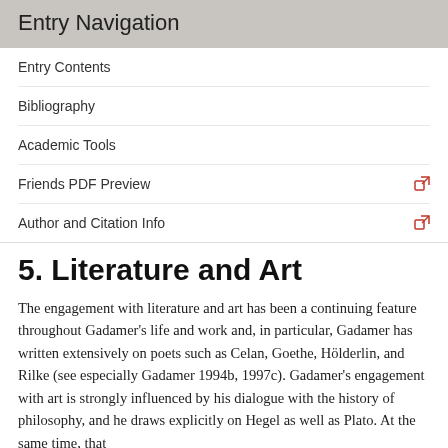Entry Navigation
Entry Contents
Bibliography
Academic Tools
Friends PDF Preview
Author and Citation Info
5. Literature and Art
The engagement with literature and art has been a continuing feature throughout Gadamer's life and work and, in particular, Gadamer has written extensively on poets such as Celan, Goethe, Hölderlin, and Rilke (see especially Gadamer 1994b, 1997c). Gadamer's engagement with art is strongly influenced by his dialogue with the history of philosophy, and he draws explicitly on Hegel as well as Plato. At the same time, that